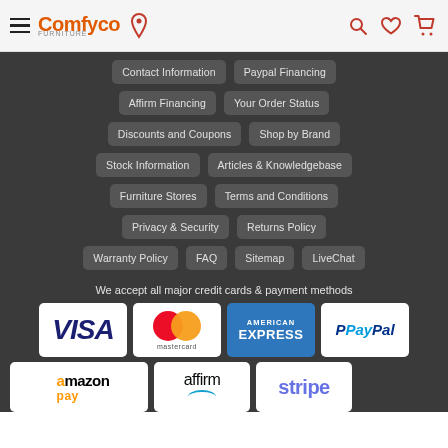[Figure (logo): Comfyco furniture logo with hamburger menu and location pin, plus search, heart, and cart icons]
Contact Information
Paypal Financing
Affirm Financing
Your Order Status
Discounts and Coupons
Shop by Brand
Stock Information
Articles & Knowledgebase
Furniture Stores
Terms and Conditions
Privacy & Security
Returns Policy
Warranty Policy
FAQ
Sitemap
LiveChat
We accept all major credit cards & payment methods
[Figure (illustration): Payment method logos: VISA, Mastercard, American Express, PayPal, Amazon Pay, Affirm, Stripe]